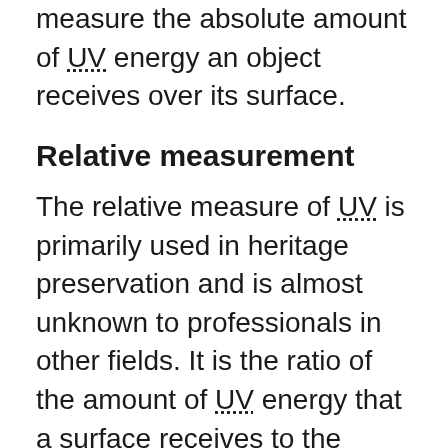measure the absolute amount of UV energy an object receives over its surface.
Relative measurement
The relative measure of UV is primarily used in heritage preservation and is almost unknown to professionals in other fields. It is the ratio of the amount of UV energy that a surface receives to the amount of visible radiation (lumens) from the same light source. Note that, while taking these measurements, it is preferable to have the UV meter facing the light source. The relative value enables a quick comparison of UV